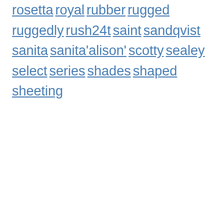rosetta
royal
rubber
rugged
ruggedly
rush24t
saint
sandqvist
sanita
sanita'alison'
scotty
sealey
select
series
shades
shaped
sheeting